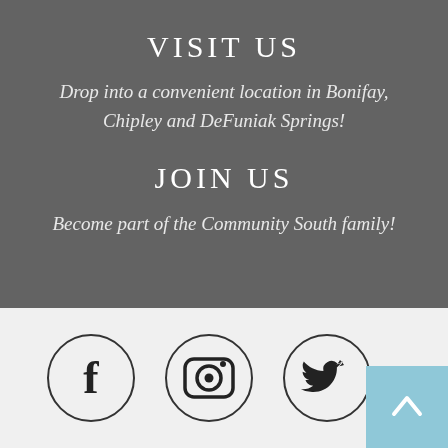VISIT US
Drop into a convenient location in Bonifay, Chipley and DeFuniak Springs!
JOIN US
Become part of the Community South family!
[Figure (illustration): Three social media icons in circles: Facebook (f), Instagram (camera/circle), Twitter (bird), plus a light blue square with an upward arrow button.]